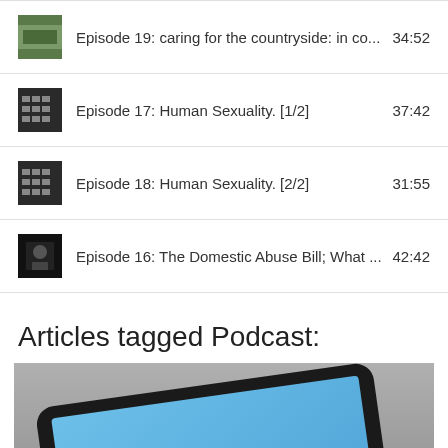Episode 19: caring for the countryside: in co...  34:52
Episode 17: Human Sexuality. [1/2]  37:42
Episode 18: Human Sexuality. [2/2]  31:55
Episode 16: The Domestic Abuse Bill; What ...  42:42
Articles tagged Podcast:
[Figure (photo): Photo of a tablet device (iPad) with a blue screen, lying on a gray surface at an angle]